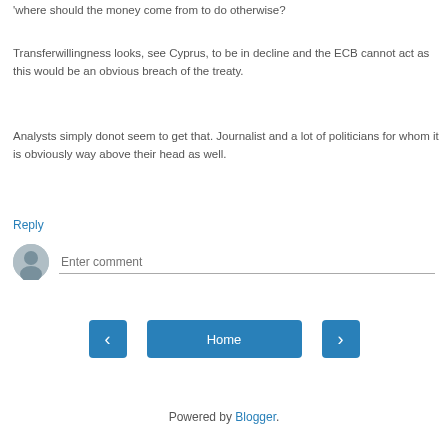'where should the money come from to do otherwise?
Transferwillingness looks, see Cyprus, to be in decline and the ECB cannot act as this would be an obvious breach of the treaty.
Analysts simply donot seem to get that. Journalist and a lot of politicians for whom it is obviously way above their head as well.
Reply
[Figure (other): Comment input area with user avatar and text field saying 'Enter comment']
[Figure (other): Navigation buttons: left arrow, Home, right arrow]
View web version
Powered by Blogger.